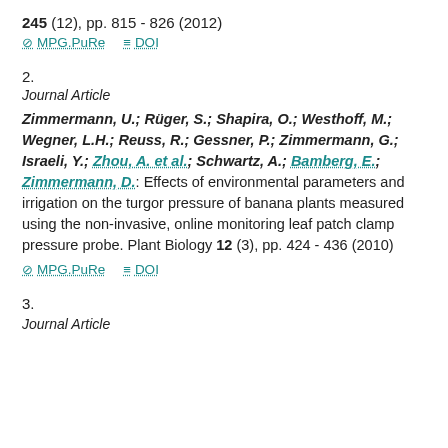245 (12), pp. 815 - 826 (2012)
MPG.PuRe   DOI
2.
Journal Article
Zimmermann, U.; Rüger, S.; Shapira, O.; Westhoff, M.; Wegner, L.H.; Reuss, R.; Gessner, P.; Zimmermann, G.; Israeli, Y.; Zhou, A. et al.; Schwartz, A.; Bamberg, E.; Zimmermann, D.: Effects of environmental parameters and irrigation on the turgor pressure of banana plants measured using the non-invasive, online monitoring leaf patch clamp pressure probe. Plant Biology 12 (3), pp. 424 - 436 (2010)
MPG.PuRe   DOI
3.
Journal Article